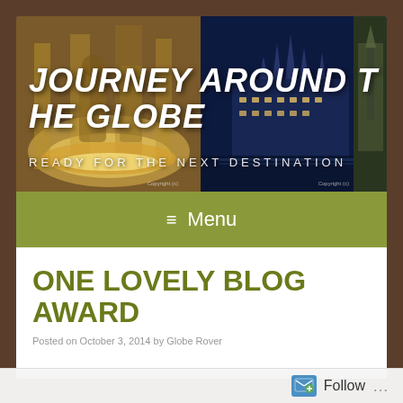[Figure (screenshot): Travel blog banner header with photos of Rome Trevi Fountain on the left, Budapest Parliament and a mosque/minaret on the right. Bold italic white text reads JOURNEY AROUND THE GLOBE with subtitle READY FOR THE NEXT DESTINATION.]
≡  Menu
ONE LOVELY BLOG AWARD
Posted on October 3, 2014 by Globe Rover
Follow